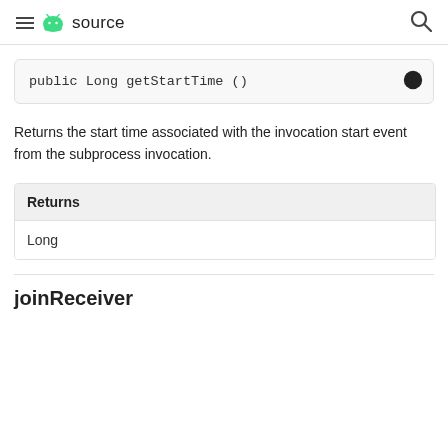≡ 🤖 source 🔍
public Long getStartTime ()
Returns the start time associated with the invocation start event from the subprocess invocation.
| Returns |
| --- |
| Long |
joinReceiver